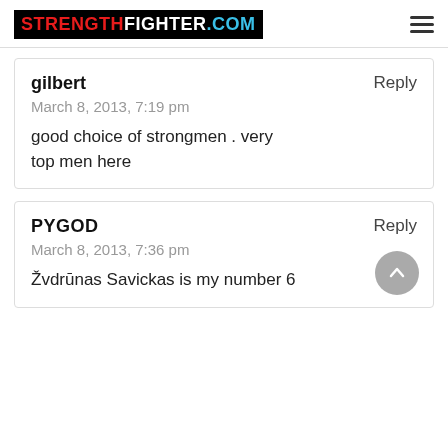STRENGTHFIGHTER.COM
gilbert
March 8, 2013, 7:19 pm

good choice of strongmen . very top men here
PYGOD
March 8, 2013, 7:36 pm

Žvdrūnas Savickas is my number 6